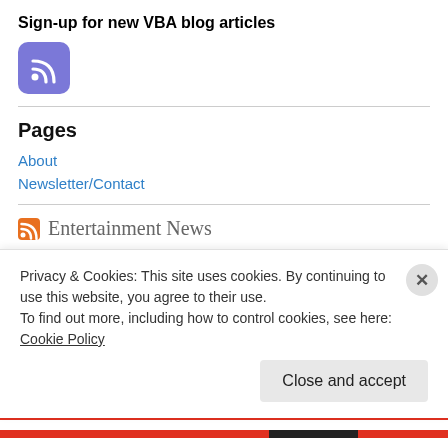Sign-up for new VBA blog articles
[Figure (logo): Purple rounded square RSS feed icon]
Pages
About
Newsletter/Contact
Entertainment News
Celeb Favorite Barefoot Dreams Is on Sale at Amazon: Shop Cozy...
Privacy & Cookies: This site uses cookies. By continuing to use this website, you agree to their use.
To find out more, including how to control cookies, see here: Cookie Policy
Close and accept